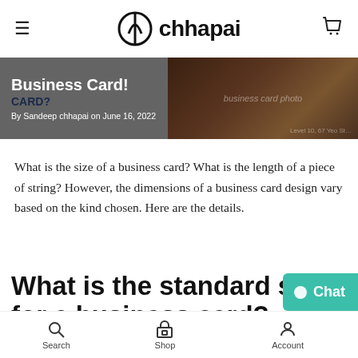chhapai (logo and navigation)
[Figure (photo): Hero banner with business card imagery. Left overlay shows 'Business Card? CARD?' with byline 'By Sandeep chhapai on June 16, 2022'. Right side shows dark photo of business cards.]
What is the size of a business card? What is the length of a piece of string? However, the dimensions of a business card design vary based on the kind chosen. Here are the details.
What is the standard size for a business card?
Search  Shop  Account  Chat